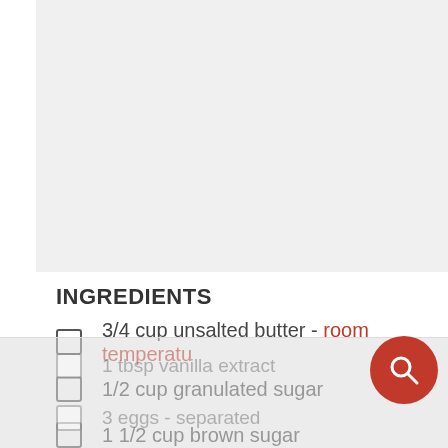INGREDIENTS
3/4 cup unsalted butter - room temperature
1/2 cup granulated sugar
1 1/2 cup brown sugar
1/4 cup unsweetened applesauce
1 tbsp vanilla extract
3 eggs - separated